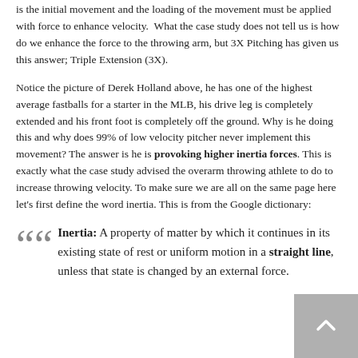is the initial movement and the loading of the movement must be applied with force to enhance velocity. What the case study does not tell us is how do we enhance the force to the throwing arm, but 3X Pitching has given us this answer; Triple Extension (3X).
Notice the picture of Derek Holland above, he has one of the highest average fastballs for a starter in the MLB, his drive leg is completely extended and his front foot is completely off the ground. Why is he doing this and why does 99% of low velocity pitcher never implement this movement? The answer is he is provoking higher inertia forces. This is exactly what the case study advised the overarm throwing athlete to do to increase throwing velocity. To make sure we are all on the same page here let's first define the word inertia. This is from the Google dictionary:
Inertia: A property of matter by which it continues in its existing state of rest or uniform motion in a straight line, unless that state is changed by an external force.